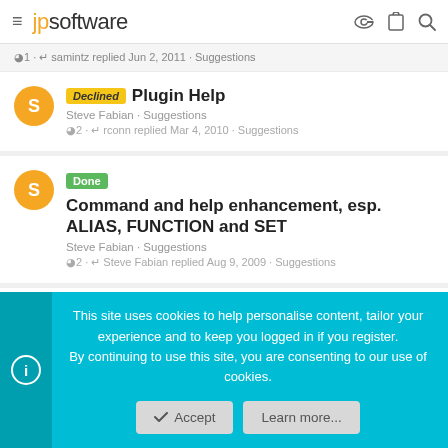jpsoftware
1 · samintz replied Jun 2, 2011 · Suggestions
Declined Plugin Help
Steve Fabian · Suggestions
2 · rconn replied Mar 4, 2010 · Suggestions
Done Command and help enhancement, esp. ALIAS, FUNCTION and SET
Steve Fabian · Suggestions
2 · Steve Fabian replied Aug 9, 2009 · Suggestions
Done v11 suggestion: plugin online help
This site uses cookies to help personalise content, tailor your experience and to keep you logged in if you register.
By continuing to use this site, you are consenting to our use of cookies.